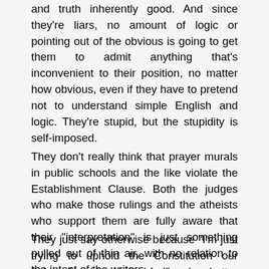and truth inherently good. And since they're liars, no amount of logic or pointing out of the obvious is going to get them to admit anything that's inconvenient to their position, no matter how obvious, even if they have to pretend not to understand simple English and logic. They're stupid, but the stupidity is self-imposed.
They don't really think that prayer murals in public schools and the like violate the Establishment Clause. Both the judges who make those rulings and the atheists who support them are fully aware that their "interpretation" is just something pulled out of thin air, with no relation to the intent of the writers.
They just say otherwise because "I'm just trying to uphold the Constitution our fathers fought and died for!" makes better press than "I'm a totalitarian at heart who is easily offended by expressions of views divergent from my own, and I want to make them to go away using whatever